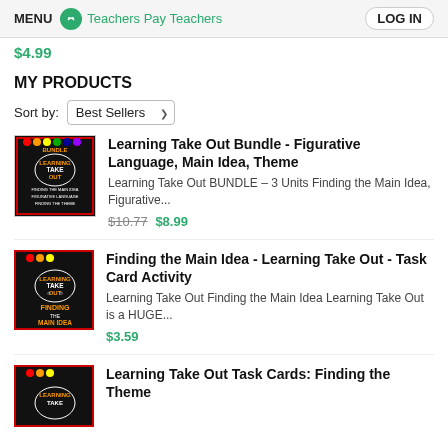MENU | Teachers Pay Teachers | LOG IN
$4.99
MY PRODUCTS
Sort by: Best Sellers
Learning Take Out Bundle - Figurative Language, Main Idea, Theme
Learning Take Out BUNDLE – 3 Units Finding the Main Idea, Figurative...
$10.77 $8.99
Finding the Main Idea - Learning Take Out - Task Card Activity
Learning Take Out Finding the Main Idea Learning Take Out is a HUGE...
$3.59
Learning Take Out Task Cards: Finding the Theme